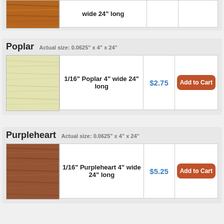[Figure (photo): Wood grain texture image at top of page, partially cropped]
| Product | Price | Action |
| --- | --- | --- |
| wide 24" long |  |  |
Poplar  Actual size: 0.0625" x 4" x 24"
[Figure (photo): Light yellowish-green poplar wood grain texture]
| Product | Price | Action |
| --- | --- | --- |
| 1/16" Poplar 4" wide 24" long | $2.75 | Add to Cart |
Purpleheart  Actual size: 0.0625" x 4" x 24"
[Figure (photo): Reddish-brown purpleheart wood grain texture]
| Product | Price | Action |
| --- | --- | --- |
| 1/16" Purpleheart 4" wide 24" long | $5.25 | Add to Cart |